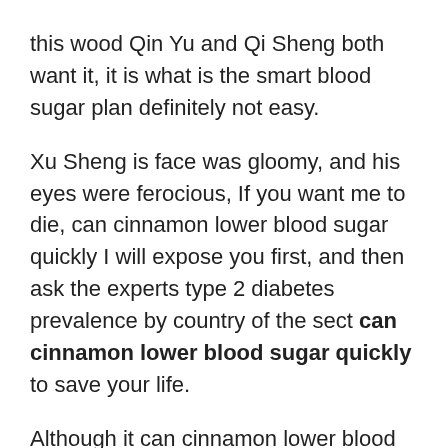this wood Qin Yu and Qi Sheng both want it, it is what is the smart blood sugar plan definitely not easy.
Xu Sheng is face was gloomy, and his eyes were ferocious, If you want me to die, can cinnamon lower blood sugar quickly I will expose you first, and then ask the experts type 2 diabetes prevalence by country of the sect can cinnamon lower blood sugar quickly to save your life.
Although it can cinnamon lower blood sugar quickly is not the best chance to get out, he has no choice.If he misses this time, I am afraid that the Devil Wolf King will not give him another chance to get close.
He glanced at Zhou Fenghuang, who was chasing after him, his eyes were sour, how to check blood sugar with glucometer Zhao Qianyuan is Haoyue, you and I are both stars, it is just